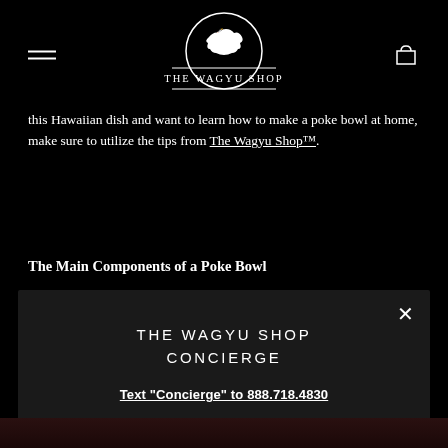[Figure (logo): The Wagyu Shop logo: white circle with cow silhouette above text 'THE WAGYU SHOP' and horizontal lines]
this Hawaiian dish and want to learn how to make a poke bowl at home, make sure to utilize the tips from The Wagyu Shop™.
The Main Components of a Poke Bowl
THE WAGYU SHOP CONCIERGE
Text "Concierge" to 888.718.4830
Ask a question, place an order, or speak with our team.